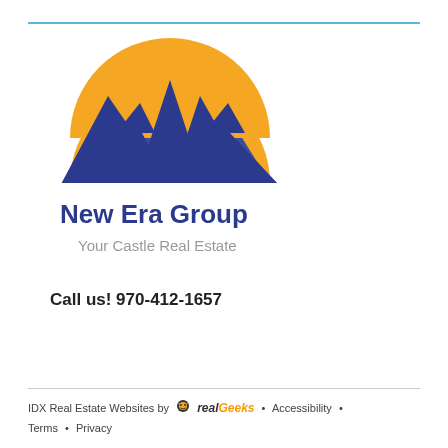[Figure (logo): New Era Group - Your Castle Real Estate logo. A golden semicircle sun above dark blue mountain peaks silhouette, with text 'New Era Group' in bold dark blue and 'Your Castle Real Estate' in gray below.]
Call us! 970-412-1657
IDX Real Estate Websites by RealGeeks • Accessibility • Terms • Privacy